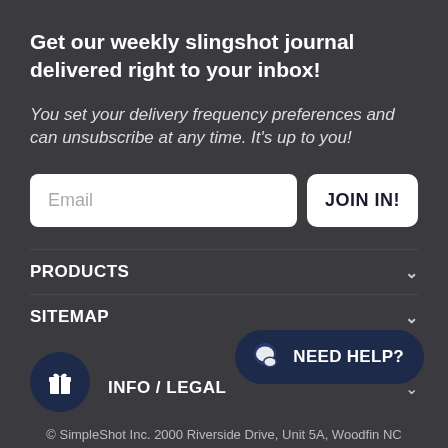Get our weekly slingshot journal delivered right to your inbox!
You set your delivery frequency preferences and can unsubscribe at any time. It's up to you!
Email | JOIN IN!
PRODUCTS
SITEMAP
[Figure (other): NEED HELP? chat button with speech bubble icon]
INFO / LEGAL
[Figure (other): Gift box icon in dark navy circle]
© SimpleShot Inc. 2000 Riverside Drive, Unit 5A, Woodfin NC